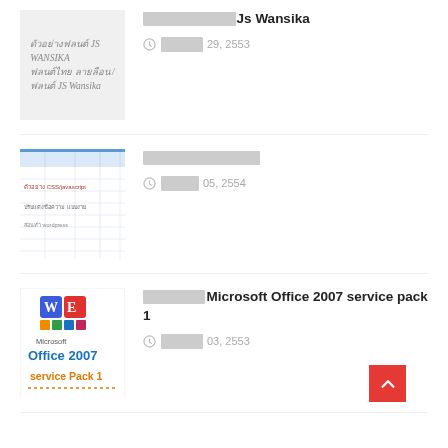ดัวอย่างฟลนต์ JS WANSIKA ฟลนต์ไทย ลายลือน / ฟลนต์ JS Wansika
■■■■■■■■■■■■■■■■■■■■ | มกราคม 29, 2553
[Figure (screenshot): Screenshot of a spreadsheet or document with Thai text]
■■■■■■■■■■■■■■■■■■■■ | มีนาคม 05, 2554
[Figure (logo): Microsoft Office 2007 Service Pack 1 logo]
■■■■■■■■■■Microsoft Office 2007 service pack 1 | มกราคม 03, 2553